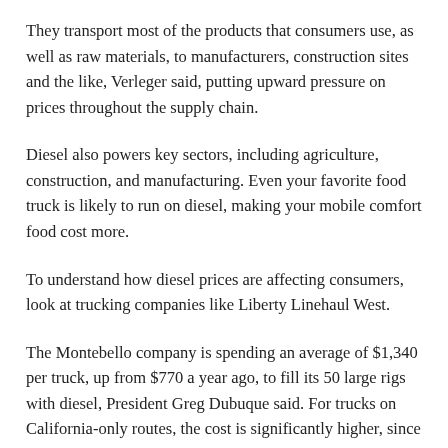They transport most of the products that consumers use, as well as raw materials, to manufacturers, construction sites and the like, Verleger said, putting upward pressure on prices throughout the supply chain.
Diesel also powers key sectors, including agriculture, construction, and manufacturing. Even your favorite food truck is likely to run on diesel, making your mobile comfort food cost more.
To understand how diesel prices are affecting consumers, look at trucking companies like Liberty Linehaul West.
The Montebello company is spending an average of $1,340 per truck, up from $770 a year ago, to fill its 50 large rigs with diesel, President Greg Dubuque said. For trucks on California-only routes, the cost is significantly higher, since all fuels — whether diesel for an 18-wheeler or gasoline for a passenger car — cost